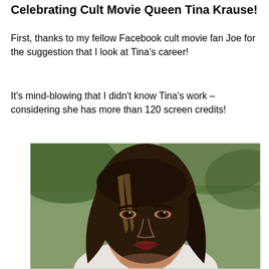Celebrating Cult Movie Queen Tina Krause!
First, thanks to my fellow Facebook cult movie fan Joe for the suggestion that I look at Tina's career!
It's mind-blowing that I didn't know Tina's work – considering she has more than 120 screen credits!
[Figure (photo): Portrait photo of Tina Krause, a woman with long dark brown hair with highlights, looking at the camera with a slight expression, outdoors with blurred green foliage background.]